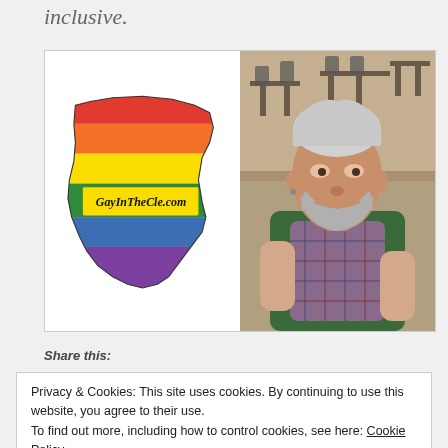inclusive.
[Figure (illustration): Ohio state map logo with rainbow stripes and text GayInTheCle.com, alongside a photo of a middle-aged man with grey hair and beard wearing a plaid shirt]
Share this:
Privacy & Cookies: This site uses cookies. By continuing to use this website, you agree to their use.
To find out more, including how to control cookies, see here: Cookie Policy
Close and accept